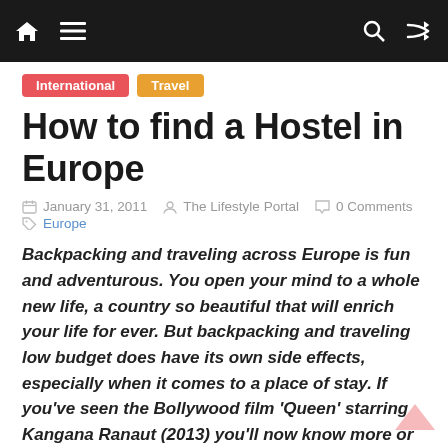Navigation bar with home, menu, search, and shuffle icons
International  Travel
How to find a Hostel in Europe
January 31, 2011  The Lifestyle Portal  0 Comments  Europe
Backpacking and traveling across Europe is fun and adventurous. You open your mind to a whole new life, a country so beautiful that will enrich your life for ever. But backpacking and traveling low budget does have its own side effects, especially when it comes to a place of stay. If you've seen the Bollywood film 'Queen' starring Kangana Ranaut (2013) you'll now know more or less what it is all about.